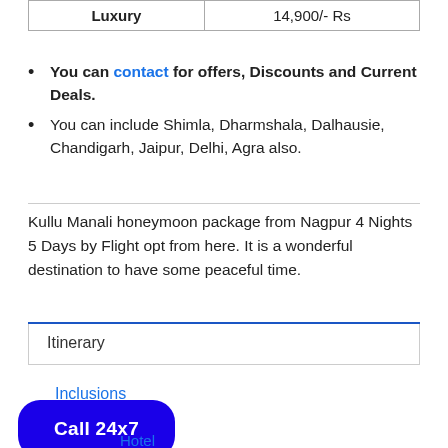| Luxury | 14,900/- Rs |
You can contact for offers, Discounts and Current Deals.
You can include Shimla, Dharmshala, Dalhausie, Chandigarh, Jaipur, Delhi, Agra also.
Kullu Manali honeymoon package from Nagpur 4 Nights 5 Days by Flight opt from here. It is a wonderful destination to have some peaceful time.
Itinerary
Inclusions
Call 24x7
Hotel